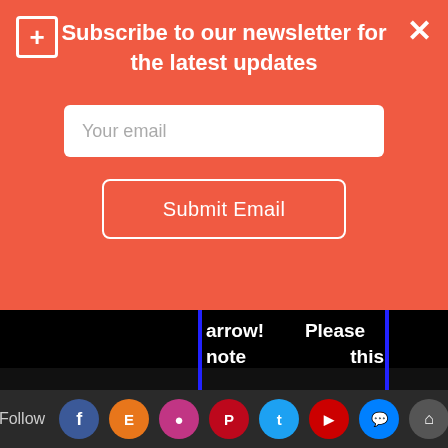Subscribe to our newsletter for the latest updates
Your email
Submit Email
arrow! Please note this measurement as "WAIST".
[Figure (photo): Back view of a person wearing a black and white patterned jacket with a pink arrow pointing right at the waist level on a yellow background, flanked by blue vertical lines]
Follow